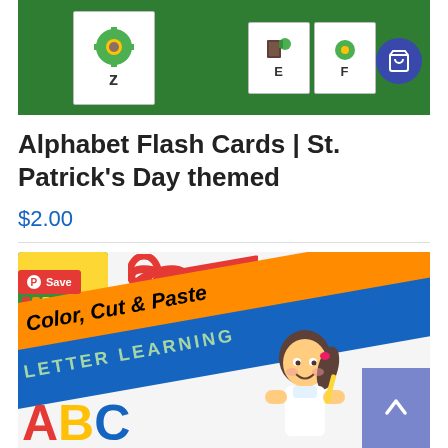[Figure (photo): St. Patrick's Day themed alphabet flash cards on green background with shopping cart button overlay]
Alphabet Flash Cards | St. Patrick's Day themed
$2.00
[Figure (photo): Color, Cut & Paste Letter Learning educational product cover with scissors, pencil, crayon box, girl illustration, and ABC letters. Pinterest Save button overlay. Purple up-arrow button overlay.]